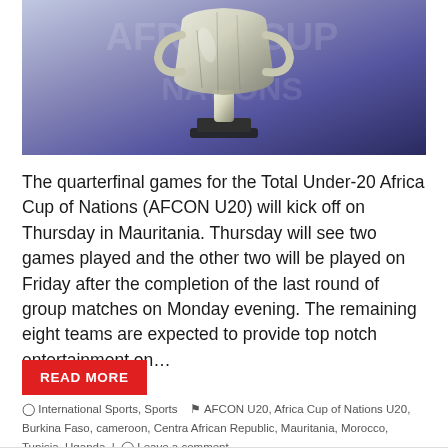[Figure (photo): Close-up photo of a silver trophy/cup against a blurred purple background with text]
The quarterfinal games for the Total Under-20 Africa Cup of Nations (AFCON U20) will kick off on Thursday in Mauritania. Thursday will see two games played and the other two will be played on Friday after the completion of the last round of group matches on Monday evening. The remaining eight teams are expected to provide top notch entertainment on…
READ MORE
International Sports, Sports  AFCON U20, Africa Cup of Nations U20, Burkina Faso, cameroon, Centra African Republic, Mauritania, Morocco, Tunisia, Uganda  Leave a comment